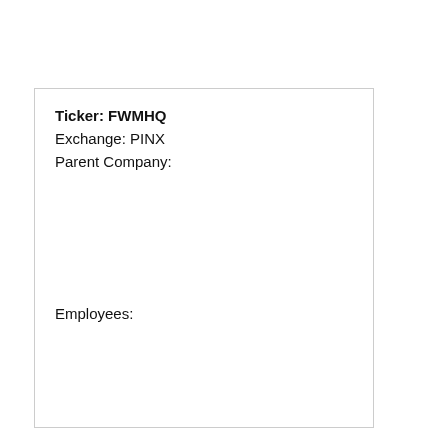Ticker: FWMHQ
Exchange: PINX
Parent Company:
Employees: